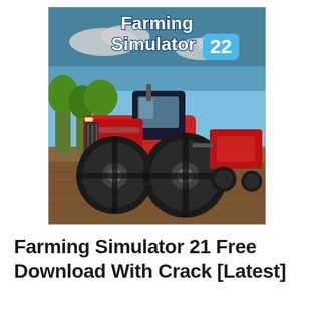[Figure (illustration): Farming Simulator 22 video game cover art showing a large red tractor (Massey Ferguson) pulling farming equipment across a field, with trees and blue sky in the background. The game logo 'Farming Simulator 22' is displayed at the top with '22' in a light blue badge.]
Farming Simulator 21 Free Download With Crack [Latest]